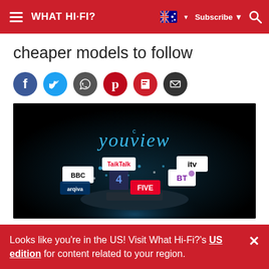WHAT HI-FI?  Subscribe  [search]
cheaper models to follow
[Figure (other): Social sharing icons row: Facebook, Twitter, WhatsApp, Pinterest, Flipboard, Email]
[Figure (photo): YouView promotional image on dark background showing the YouView logo in blue neon text above floating TV channel logos including BBC, TalkTalk, ITV, Channel 4, BT, Argivo, and FIVE, emanating from a glowing platform device.]
Looks like you're in the US! Visit What Hi-Fi?'s US edition for content related to your region.